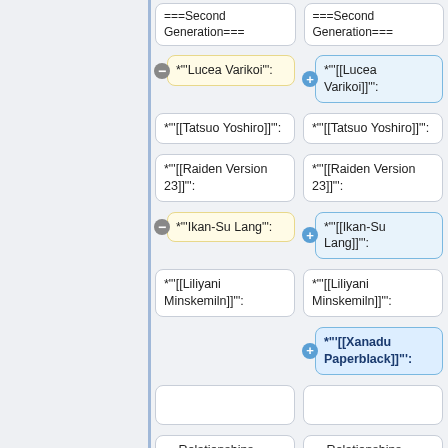===Second Generation===	===Second Generation===
*"'Lucea Varikoi"': (left, yellow, minus) | *"'[[Lucea Varikoi]]"': (right, blue, plus)
*"'[[Tatsuo Yoshiro]]"': | *"'[[Tatsuo Yoshiro]]"':
*"'[[Raiden Version 23]]"': | *"'[[Raiden Version 23]]"':
*"'Ikan-Su Lang"': (left, yellow, minus) | *"'[[Ikan-Su Lang]]"': (right, blue, plus)
*"'[[Liliyani Minskemiln]]"': | *"'[[Liliyani Minskemiln]]"':
(empty left) | *"'[[Xanadu Paperblack]]"': (right, blue-bold, plus)
(empty) | (empty)
==Relationships== | ==Relationships==